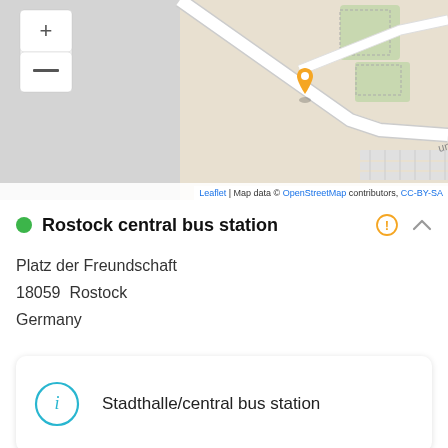[Figure (map): OpenStreetMap showing Rostock central bus station area with an orange location pin marker, roads including 'Freundschaft', and zoom controls in upper left. Map attribution: Leaflet | Map data © OpenStreetMap contributors, CC-BY-SA]
Rostock central bus station
Platz der Freundschaft
18059  Rostock
Germany
Stadthalle/central bus station